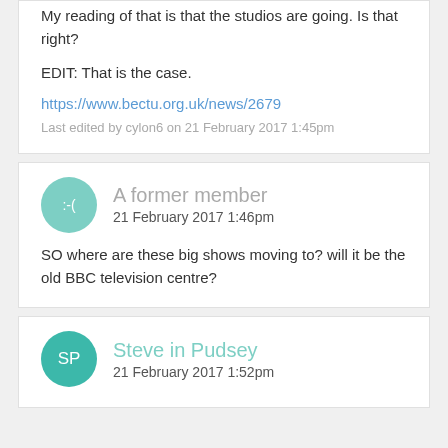My reading of that is that the studios are going. Is that right?
EDIT: That is the case.
https://www.bectu.org.uk/news/2679
Last edited by cylon6 on 21 February 2017 1:45pm
A former member
21 February 2017 1:46pm
SO where are these big shows moving to? will it be the old BBC television centre?
Steve in Pudsey
21 February 2017 1:52pm